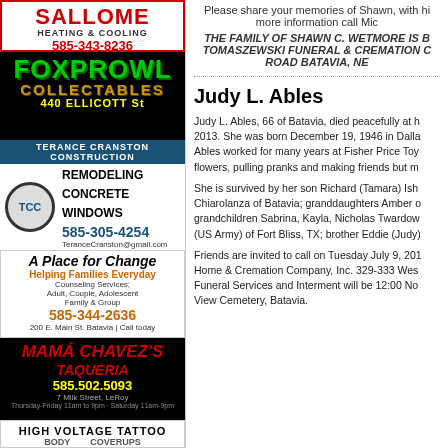[Figure (illustration): Sallome Heating & Cooling ad with red text and logo, phone 585-343-8236]
[Figure (illustration): FoxProwl Collectables ad with green/gold text on black background, 440 Ellicott St, toys and comics]
[Figure (illustration): Terance Cranston Construction ad with TCC logo, remodeling concrete windows, 585-305-4254]
[Figure (illustration): A Place for Change counseling services ad with butterfly, 585-344-2636, 200 E. Main St. Batavia]
[Figure (illustration): Mama Chavez's Taqueria ad, 585.502.5093, 7 Milk Street LeRoy]
[Figure (illustration): High Voltage Tattoo ad, body, coverups]
Please share your memories of Shawn, with hi more information call Mic
THE FAMILY OF SHAWN C. WETMORE IS B TOMASZEWSKI FUNERAL & CREMATION C ROAD BATAVIA, NE
Judy L. Ables
Judy L. Ables, 66 of Batavia, died peacefully at h 2013. She was born December 19, 1946 in Dalla Ables worked for many years at Fisher Price Toy flowers, pulling pranks and making friends but m
She is survived by her son Richard (Tamara) Ish Chiarolanza of Batavia; granddaughters Amber o grandchildren Sabrina, Kayla, Nicholas Twardow (US Army) of Fort Bliss, TX; brother Eddie (Judy)
Friends are invited to call on Tuesday July 9, 201 Home & Cremation Company, Inc. 329-333 Wes Funeral Services and Interment will be 12:00 No View Cemetery, Batavia.